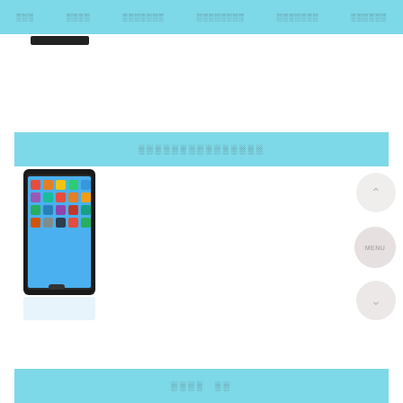░░░  ░░░░  ░░░░░░░  ░░░░░░░░  ░░░░░░░  ░░░░░░
[Figure (screenshot): Website screenshot showing a navigation bar with menu items in Japanese/Chinese characters, a light blue section header band with text, a tablet device image showing colorful app icons, circular UI buttons on the right (up arrow, MENU, down arrow), and a light blue footer band with text.]